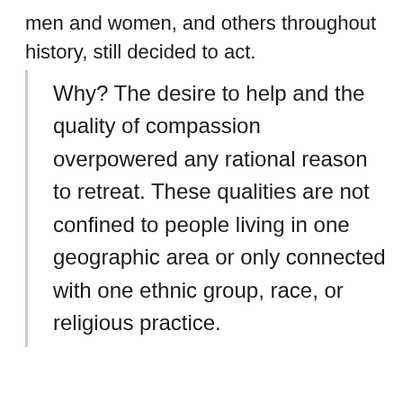men and women, and others throughout history, still decided to act.
Why? The desire to help and the quality of compassion overpowered any rational reason to retreat. These qualities are not confined to people living in one geographic area or only connected with one ethnic group, race, or religious practice.